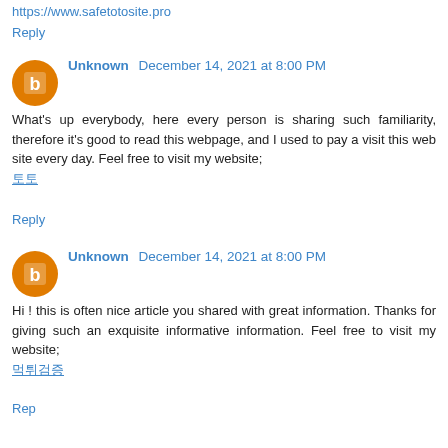https://www.safetotosite.pro
Reply
Unknown December 14, 2021 at 8:00 PM
What's up everybody, here every person is sharing such familiarity, therefore it's good to read this webpage, and I used to pay a visit this web site every day. Feel free to visit my website;
토토
Reply
Unknown December 14, 2021 at 8:00 PM
Hi ! this is often nice article you shared with great information. Thanks for giving such an exquisite informative information. Feel free to visit my website;
먹튀검증
Reply